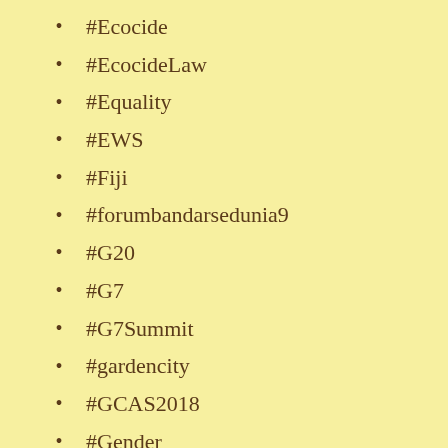#Ecocide
#EcocideLaw
#Equality
#EWS
#Fiji
#forumbandarsedunia9
#G20
#G7
#G7Summit
#gardencity
#GCAS2018
#Gender
#GlobalGoals
#Go100RE
#GP2019Geneva
#GTF2016
#HaBanGoa...